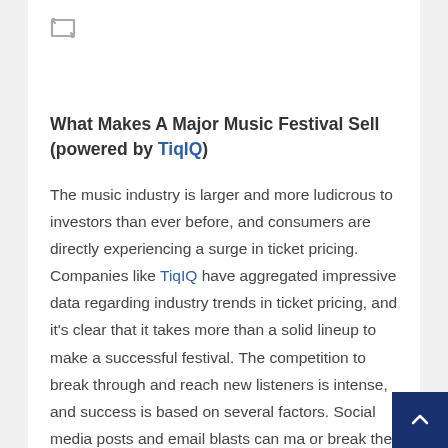[Figure (other): Repeat/loop icon (two arrows forming a rectangle loop) in gray]
What Makes A Major Music Festival Sell (powered by TiqIQ)
The music industry is larger and more ludicrous to investors than ever before, and consumers are directly experiencing a surge in ticket pricing. Companies like TiqIQ have aggregated impressive data regarding industry trends in ticket pricing, and it's clear that it takes more than a solid lineup to make a successful festival. The competition to break through and reach new listeners is intense, and success is based on several factors. Social media posts and email blasts can ma or break the connection between artist and fan, and it